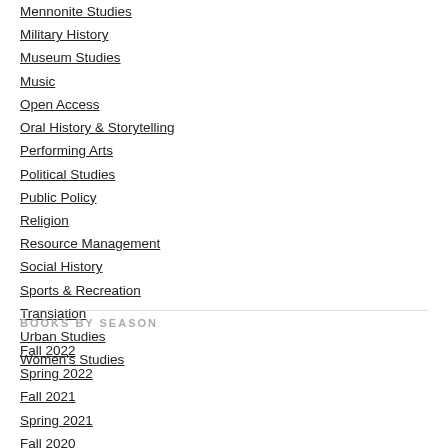Mennonite Studies
Military History
Museum Studies
Music
Open Access
Oral History & Storytelling
Performing Arts
Political Studies
Public Policy
Religion
Resource Management
Social History
Sports & Recreation
Translation
Urban Studies
Women's Studies
BOOKS BY SEASON
Fall 2022
Spring 2022
Fall 2021
Spring 2021
Fall 2020
Spring 2020